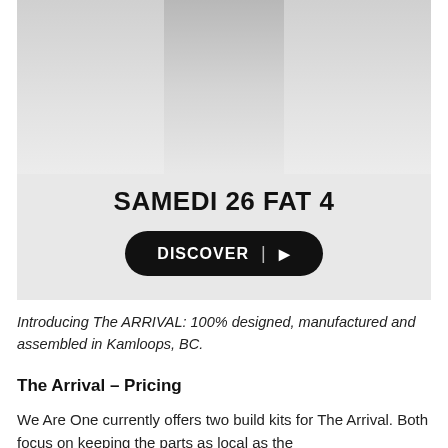[Figure (photo): Product advertisement image showing a figure (legs visible) above text reading SAMEDI 26 FAT 4 with a black DISCOVER button below, on a light gray background.]
Introducing The ARRIVAL: 100% designed, manufactured and assembled in Kamloops, BC.
The Arrival – Pricing
We Are One currently offers two build kits for The Arrival. Both focus on keeping the parts as local as the